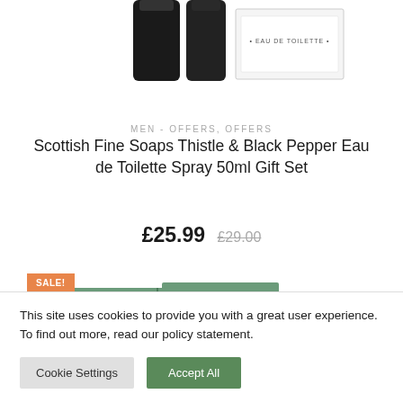[Figure (photo): Product photo showing Scottish Fine Soaps Thistle & Black Pepper gift set with dark bottles and eau de toilette box]
MEN - OFFERS, OFFERS
Scottish Fine Soaps Thistle & Black Pepper Eau de Toilette Spray 50ml Gift Set
£25.99 £29.00
[Figure (photo): Second product partially visible with SALE! badge and green packaging]
This site uses cookies to provide you with a great user experience. To find out more, read our policy statement.
Cookie Settings   Accept All